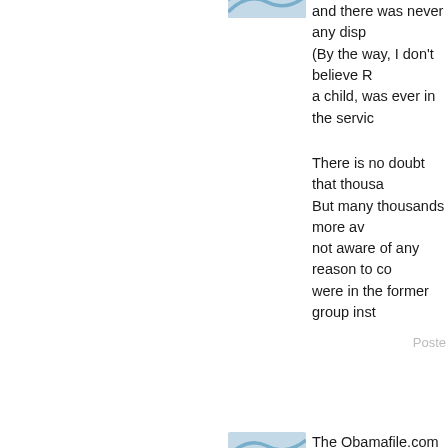and there was never any disp (By the way, I don't believe R a child, was ever in the servic
There is no doubt that thousa But many thousands more av not aware of any reason to co were in the former group inst
Poste
[Figure (illustration): Blue wave/feather pattern avatar icon]
The Obamafile.com has just p concerning the DOH 'USA To statement. This story is only g statistics and associated doc public. The American people the childhood, close relations Obama should be flattered so
[Figure (illustration): Green sunburst avatar icon with green circle center]
Clarice, don't you think the U something more than a news involved in an international cu